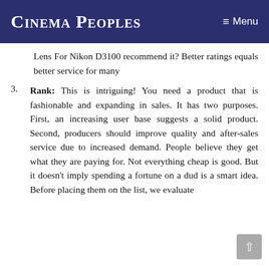Cinema Peoples   ≡ Menu
Lens For Nikon D3100 recommend it? Better ratings equals better service for many
3. Rank: This is intriguing! You need a product that is fashionable and expanding in sales. It has two purposes. First, an increasing user base suggests a solid product. Second, producers should improve quality and after-sales service due to increased demand. People believe they get what they are paying for. Not everything cheap is good. But it doesn't imply spending a fortune on a dud is a smart idea. Before placing them on the list, we evaluate